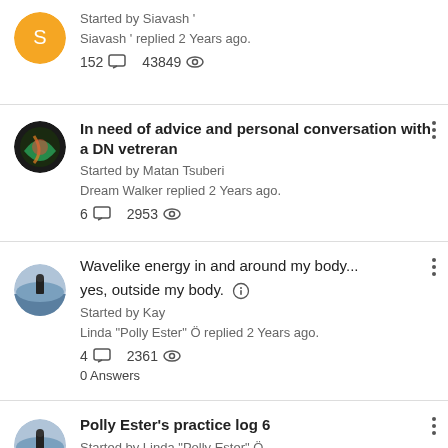Started by Siavash ' | Siavash ' replied 2 Years ago. | 152 replies | 43849 views
In need of advice and personal conversation with a DN vetreran | Started by Matan Tsuberi | Dream Walker replied 2 Years ago. | 6 replies | 2953 views
Wavelike energy in and around my body... yes, outside my body. | Started by Kay | Linda "Polly Ester" Ö replied 2 Years ago. | 4 replies | 2361 views | 0 Answers
Polly Ester's practice log 6 | Started by Linda "Polly Ester" Ö